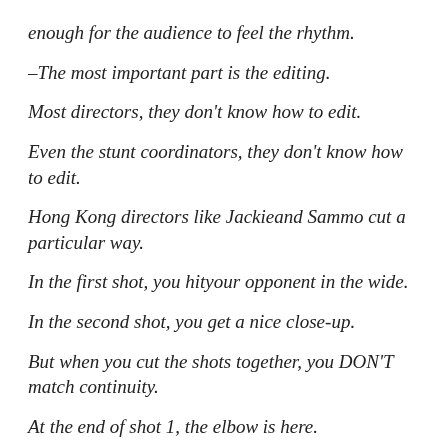enough for the audience to feel the rhythm.
–The most important part is the editing.
Most directors, they don't know how to edit.
Even the stunt coordinators, they don't know how to edit.
Hong Kong directors like Jackieand Sammo cut a particular way.
In the first shot, you hityour opponent in the wide.
In the second shot, you get a nice close-up.
But when you cut the shots together, you DON'T match continuity.
At the end of shot 1, the elbow is here.